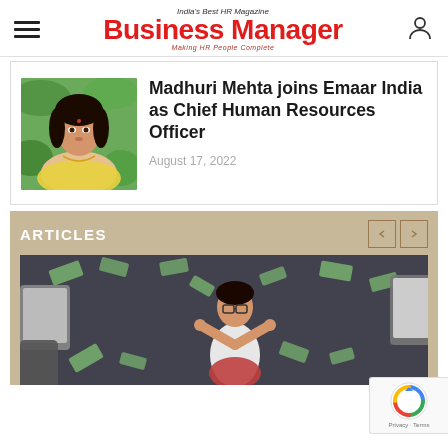India's Best HR Magazine — Business Manager — Making HR People Complete
[Figure (photo): Portrait of Madhuri Mehta, a woman in a yellow saree outdoors with greenery background]
Madhuri Mehta joins Emaar India as Chief Human Resources Officer
August 17, 2022
ARTICLES
[Figure (photo): Woman in white shirt meditating with money and devices flying around her in a chaotic scene]